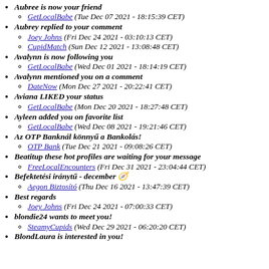Aubree is now your friend
GetLocalBabe (Tue Dec 07 2021 - 18:15:39 CET)
Aubrey replied to your comment
Joey Johns (Fri Dec 24 2021 - 03:10:13 CET)
CupidMatch (Sun Dec 12 2021 - 13:08:48 CET)
Avalynn is now following you
GetLocalBabe (Wed Dec 01 2021 - 18:14:19 CET)
Avalynn mentioned you on a comment
DateNow (Mon Dec 27 2021 - 20:22:41 CET)
Aviana LIKED your status
GetLocalBabe (Mon Dec 20 2021 - 18:27:48 CET)
Ayleen added you on favorite list
GetLocalBabe (Wed Dec 08 2021 - 19:21:46 CET)
Az OTP Banknál könnyű a Bankolás!
OTP Bank (Tue Dec 21 2021 - 09:08:26 CET)
Beatitup these hot profiles are waiting for your message
FreeLocalEncounters (Fri Dec 31 2021 - 23:04:44 CET)
Befektetési iránytű - december 🧭
Aegon Biztosító (Thu Dec 16 2021 - 13:47:39 CET)
Best regards
Joey Johns (Fri Dec 24 2021 - 07:00:33 CET)
blondie24 wants to meet you!
SteamyCupids (Wed Dec 29 2021 - 06:20:20 CET)
BlondLaura is interested in you!